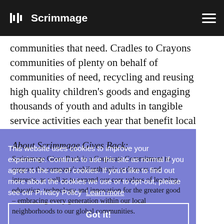Scrimmage (logo and navigation bar)
communities that need. Cradles to Crayons communities of plenty on behalf of communities of need, recycling and reusing high quality children's goods and engaging thousands of youth and adults in tangible service activities each year that benefit local children.
About Scrimmage Gives Back:
Scrimmage Gives Back is a Corporate Commitment to support the company's philanthropic endeavors and interests, as well as to expand our core values of learning, education, technology and innovation for the greater good – embracing every generation within our local neighborhoods to our global communities.
This website uses cookies to improve your experience. Continue to use this site as normal if you agree to the use of cookies. If you'd like to find out more about the cookies we use or to opt-out, please see our Privacy Policy  Learn more  Got it!
About Scrimmage